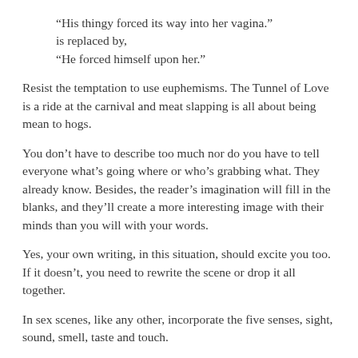“His thingy forced its way into her vagina.” is replaced by, “He forced himself upon her.”
Resist the temptation to use euphemisms. The Tunnel of Love is a ride at the carnival and meat slapping is all about being mean to hogs.
You don’t have to describe too much nor do you have to tell everyone what’s going where or who’s grabbing what. They already know. Besides, the reader’s imagination will fill in the blanks, and they’ll create a more interesting image with their minds than you will with your words.
Yes, your own writing, in this situation, should excite you too. If it doesn’t, you need to rewrite the scene or drop it all together.
In sex scenes, like any other, incorporate the five senses, sight, sound, smell, taste and touch.
Fluids can be fun. Yes, sex is sticky and fluid-filled, so don’t shy away from those components of the act either.